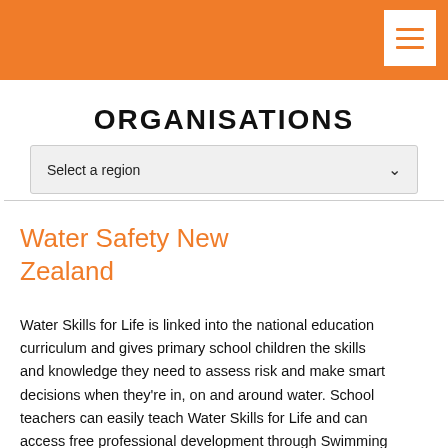ORGANISATIONS
Select a region
Water Safety New Zealand
Water Skills for Life is linked into the national education curriculum and gives primary school children the skills and knowledge they need to assess risk and make smart decisions when they’re in, on and around water. School teachers can easily teach Water Skills for Life and can access free professional development through Swimming New